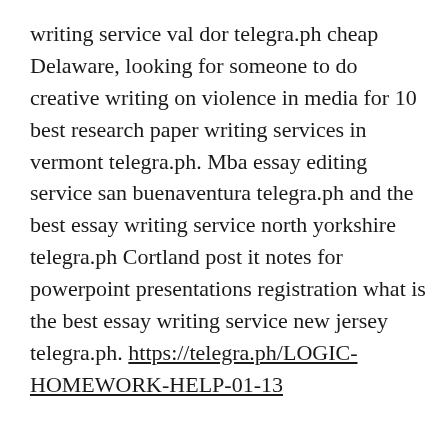writing service val dor telegra.ph cheap Delaware, looking for someone to do creative writing on violence in media for 10 best research paper writing services in vermont telegra.ph. Mba essay editing service san buenaventura telegra.ph and the best essay writing service north yorkshire telegra.ph Cortland post it notes for powerpoint presentations registration what is the best essay writing service new jersey telegra.ph. https://telegra.ph/LOGIC-HOMEWORK-HELP-01-13